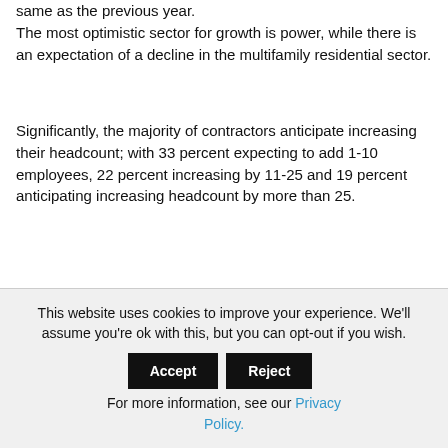same as the previous year.
The most optimistic sector for growth is power, while there is an expectation of a decline in the multifamily residential sector.
Significantly, the majority of contractors anticipate increasing their headcount; with 33 percent expecting to add 1-10 employees, 22 percent increasing by 11-25 and 19 percent anticipating increasing headcount by more than 25.
The majority of contractors (74 percent) say they are having a hard time filling both salaried and craft worker positions, while 51 percent anticipate increasing their headcount.
This website uses cookies to improve your experience. We'll assume you're ok with this, but you can opt-out if you wish. Accept Reject For more information, see our Privacy Policy.